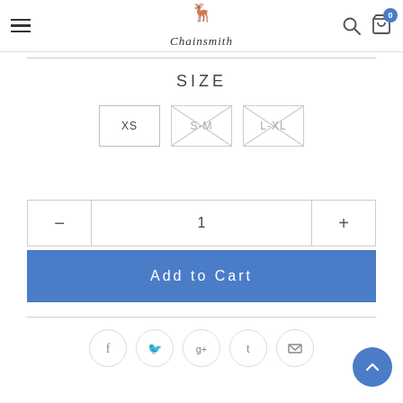Chainsmith — navigation header with logo, hamburger menu, search icon, and cart (0)
SIZE
Size options: XS (selected), S-M (unavailable/crossed), L-XL (unavailable/crossed)
Quantity: 1
Add to Cart
Social share icons: Facebook, Twitter, Google+, Tumblr, Email